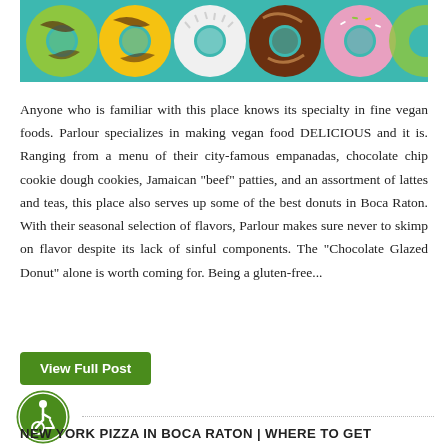[Figure (photo): A banner photo showing an assortment of colorful glazed donuts including green, yellow, white/coconut, chocolate, and pink varieties on a teal/blue background.]
Anyone who is familiar with this place knows its specialty in fine vegan foods. Parlour specializes in making vegan food DELICIOUS and it is. Ranging from a menu of their city-famous empanadas, chocolate chip cookie dough cookies, Jamaican "beef" patties, and an assortment of lattes and teas, this place also serves up some of the best donuts in Boca Raton. With their seasonal selection of flavors, Parlour makes sure never to skimp on flavor despite its lack of sinful components. The "Chocolate Glazed Donut" alone is worth coming for. Being a gluten-free...
View Full Post
[Figure (illustration): Accessibility icon: circular green icon with a white wheelchair user symbol]
NEW YORK PIZZA IN BOCA RATON | WHERE TO GET